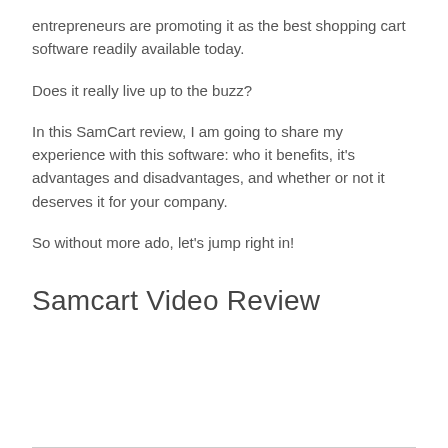entrepreneurs are promoting it as the best shopping cart software readily available today.
Does it really live up to the buzz?
In this SamCart review, I am going to share my experience with this software: who it benefits, it's advantages and disadvantages, and whether or not it deserves it for your company.
So without more ado, let's jump right in!
Samcart Video Review